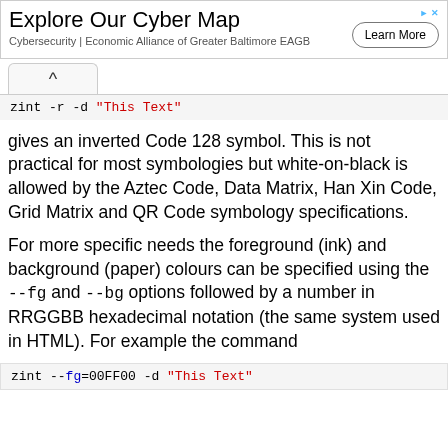[Figure (other): Advertisement banner: 'Explore Our Cyber Map' - Cybersecurity | Economic Alliance of Greater Baltimore EAGB, with Learn More button]
zint -r -d "This Text"
gives an inverted Code 128 symbol. This is not practical for most symbologies but white-on-black is allowed by the Aztec Code, Data Matrix, Han Xin Code, Grid Matrix and QR Code symbology specifications.
For more specific needs the foreground (ink) and background (paper) colours can be specified using the --fg and --bg options followed by a number in RRGGBB hexadecimal notation (the same system used in HTML). For example the command
zint --fg=00FF00 -d "This Text"